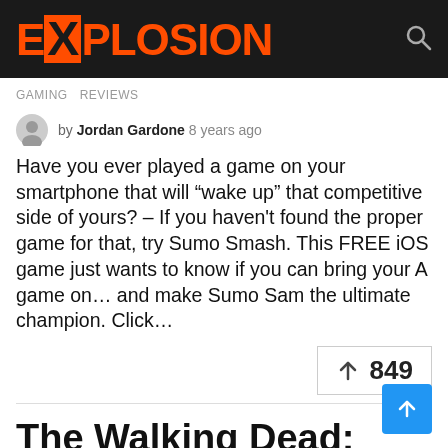eXPLOSION
GAMING   REVIEWS
by Jordan Gardone 8 years ago
Have you ever played a game on your smartphone that will “wake up” that competitive side of yours? – If you haven't found the proper game for that, try Sumo Smash. This FREE iOS game just wants to know if you can bring your A game on… and make Sumo Sam the ultimate champion. Click…
849
The Walking Dead: Season Two Review-In-